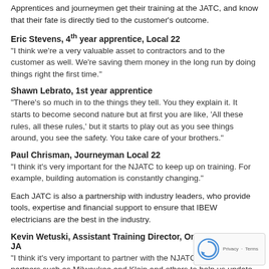Apprentices and journeymen get their training at the JATC, and know that their fate is directly tied to the customer's outcome.
Eric Stevens, 4th year apprentice, Local 22
“I think we’re a very valuable asset to contractors and to the customer as well. We’re saving them money in the long run by doing things right the first time.”
Shawn Lebrato, 1st year apprentice
“There’s so much in to the things they tell. You they explain it. It starts to become second nature but at first you are like, ‘All these rules, all these rules,’ but it starts to play out as you see things around, you see the safety. You take care of your brothers.”
Paul Chrisman, Journeyman Local 22
“I think it’s very important for the NJATC to keep up on training. For example, building automation is constantly changing.”
Each JATC is also a partnership with industry leaders, who provide tools, expertise and financial support to ensure that IBEW electricians are the best in the industry.
Kevin Wetuski, Assistant Training Director, Omaha Electrical JA
“I think it’s very important to partner with the NJATC and to have our partners such as Milwaukee and Klein and others to help us update the